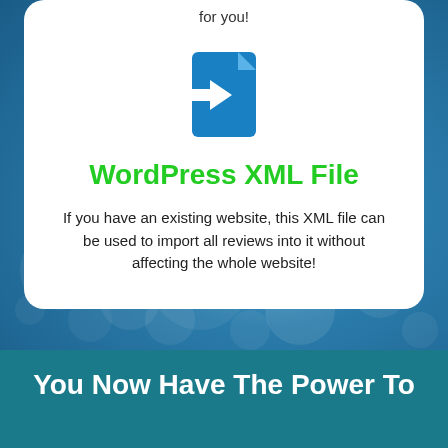for you!
[Figure (illustration): Blue file/document icon with an arrow pointing into it, representing WordPress XML file import]
WordPress XML File
If you have an existing website, this XML file can be used to import all reviews into it without affecting the whole website!
You Now Have The Power To